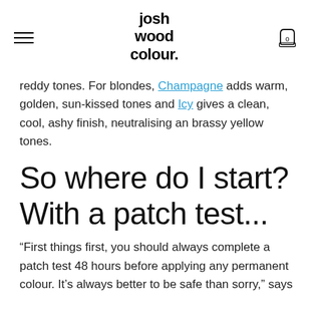josh wood colour. [hamburger menu] [cart: 0]
reddy tones. For blondes, Champagne adds warm, golden, sun-kissed tones and Icy gives a clean, cool, ashy finish, neutralising an brassy yellow tones.
So where do I start? With a patch test...
“First things first, you should always complete a patch test 48 hours before applying any permanent colour. It’s always better to be safe than sorry,” says